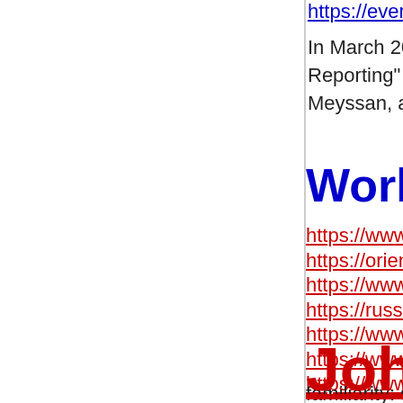https://everipedia.org/wiki/lang_en/eva-ba
In March 2017, Mexico City, Bartlett wa... Reporting" by the Mexican Press Club. Meyssan, among others.
Work by or abou
https://www.globalresearch.ca/author/thie
https://orientalreview.org/author/ts/
https://www.mintpressnews.com/author/th
https://russia-insider.com/en/thierry-meys
https://www.amazon.com/Thierry-Meyssa
https://www.google.com/search?tbo=p&tb
https://www.goodreads.com/author/show/
familiarity: since at least 2014
John Judge